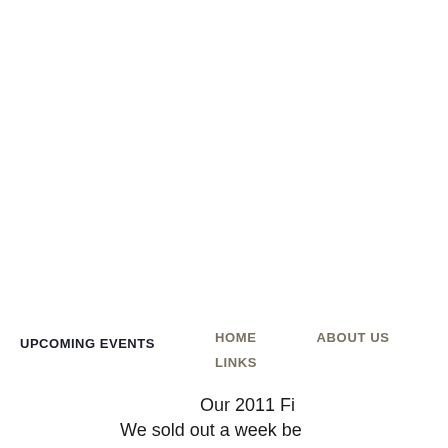UPCOMING EVENTS
HOME
ABOUT US
LINKS
Our 2011 Fi...
We sold out a week be...